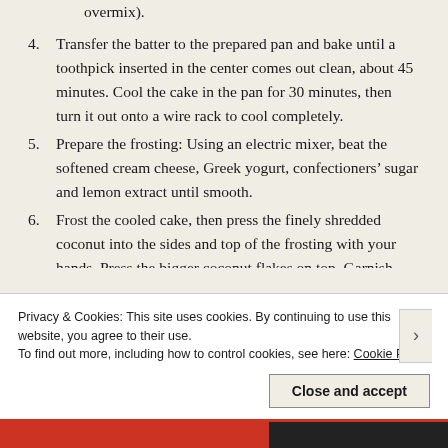overmix).
4. Transfer the batter to the prepared pan and bake until a toothpick inserted in the center comes out clean, about 45 minutes. Cool the cake in the pan for 30 minutes, then turn it out onto a wire rack to cool completely.
5. Prepare the frosting: Using an electric mixer, beat the softened cream cheese, Greek yogurt, confectioners’ sugar and lemon extract until smooth.
6. Frost the cooled cake, then press the finely shredded coconut into the sides and top of the frosting with your hands. Press the bigger coconut flakes on top. Garnish with sprinkles. Fill the hole
Privacy & Cookies: This site uses cookies. By continuing to use this website, you agree to their use.
To find out more, including how to control cookies, see here: Cookie Policy